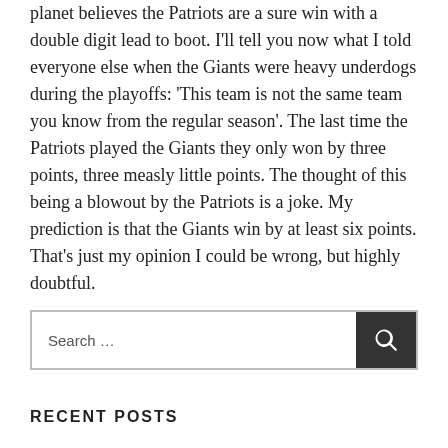planet believes the Patriots are a sure win with a double digit lead to boot. I'll tell you now what I told everyone else when the Giants were heavy underdogs during the playoffs: 'This team is not the same team you know from the regular season'. The last time the Patriots played the Giants they only won by three points, three measly little points. The thought of this being a blowout by the Patriots is a joke. My prediction is that the Giants win by at least six points. That's just my opinion I could be wrong, but highly doubtful.
Search …
RECENT POSTS